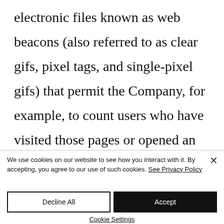electronic files known as web beacons (also referred to as clear gifs, pixel tags, and single-pixel gifs) that permit the Company, for example, to count users who have visited those pages or opened an
We use cookies on our website to see how you interact with it. By accepting, you agree to our use of such cookies. See Privacy Policy
Decline All
Accept
Cookie Settings